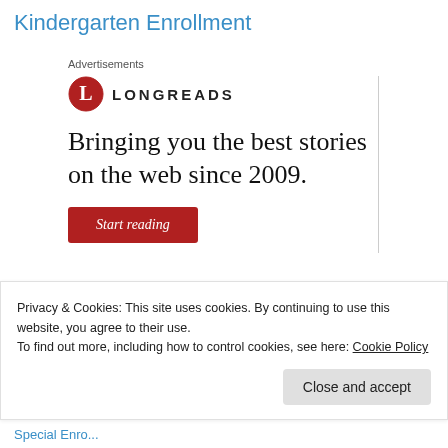Kindergarten Enrollment
Advertisements
[Figure (logo): Longreads logo: red circle with white L, followed by LONGREADS wordmark in bold caps]
Bringing you the best stories on the web since 2009.
[Figure (other): Red button labeled 'Start reading']
Privacy & Cookies: This site uses cookies. By continuing to use this website, you agree to their use.
To find out more, including how to control cookies, see here: Cookie Policy
Close and accept